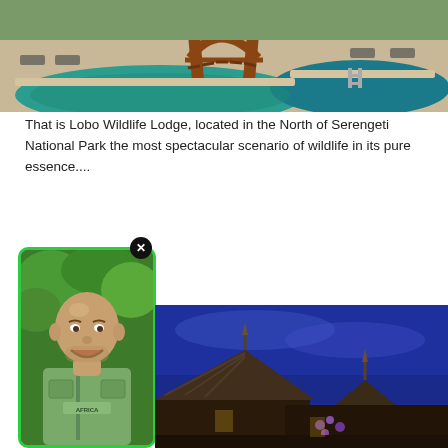[Figure (photo): Outdoor swimming pool at Lobo Wildlife Lodge with a wooden arched bridge over the pool, sandy surroundings, green water, and lounge chairs in the background]
That is Lobo Wildlife Lodge, located in the North of Serengeti National Park the most spectacular scenario of wildlife in its pure essence....
[Figure (photo): Profile photo of a bald man wearing a green safari vest with 'AFRICA' text, smiling, surrounded by green trees. Photo has a green border and a black X close button in the top-right corner.]
[Figure (photo): Night scene of thatched-roof lodge buildings illuminated against a deep blue sky with purple flowers visible]